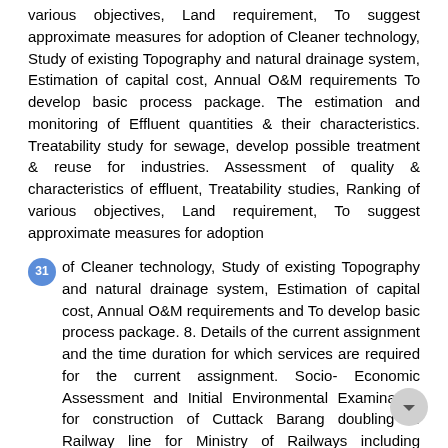various objectives, Land requirement, To suggest approximate measures for adoption of Cleaner technology, Study of existing Topography and natural drainage system, Estimation of capital cost, Annual O&M requirements To develop basic process package. The estimation and monitoring of Effluent quantities & their characteristics. Treatability study for sewage, develop possible treatment & reuse for industries. Assessment of quality & characteristics of effluent, Treatability studies, Ranking of various objectives, Land requirement, To suggest approximate measures for adoption
31 of Cleaner technology, Study of existing Topography and natural drainage system, Estimation of capital cost, Annual O&M requirements and To develop basic process package. 8. Details of the current assignment and the time duration for which services are required for the current assignment. Socio- Economic Assessment and Initial Environmental Examination for construction of Cuttack Barang doubling of Railway line for Ministry of Railways including stations. Certification: 1. I am willing to work on the Project and I will be available for entire duration of the Project assignment as required. 2. I, the undersigned